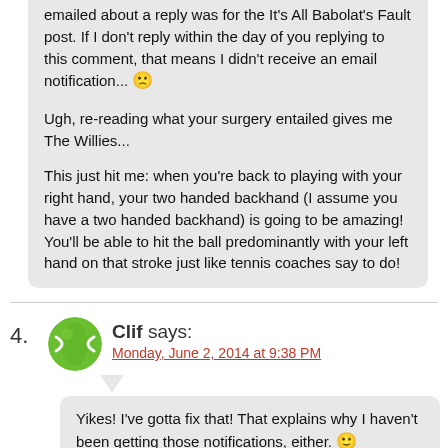emailed about a reply was for the It's All Babolat's Fault post. If I don't reply within the day of you replying to this comment, that means I didn't receive an email notification... 🙁 Ugh, re-reading what your surgery entailed gives me The Willies... This just hit me: when you're back to playing with your right hand, your two handed backhand (I assume you have a two handed backhand) is going to be amazing! You'll be able to hit the ball predominantly with your left hand on that stroke just like tennis coaches say to do!
4. Clif says:
Monday, June 2, 2014 at 9:38 PM
Yikes! I've gotta fix that! That explains why I haven't been getting those notifications, either. 🙂